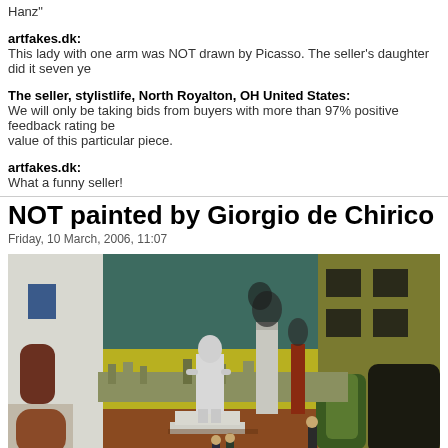Hanz"
artfakes.dk: This lady with one arm was NOT drawn by Picasso. The seller's daughter did it seven ye...
The seller, stylistlife, North Royalton, OH United States: We will only be taking bids from buyers with more than 97% positive feedback rating be... value of this particular piece.
artfakes.dk: What a funny seller!
NOT painted by Giorgio de Chirico
Friday, 10 March, 2006, 11:07
[Figure (photo): A painting in the style of Giorgio de Chirico showing a metaphysical street scene with a white statue, two small figures, a man standing, buildings on both sides, factory chimneys in the background, and a yellow-green sky.]